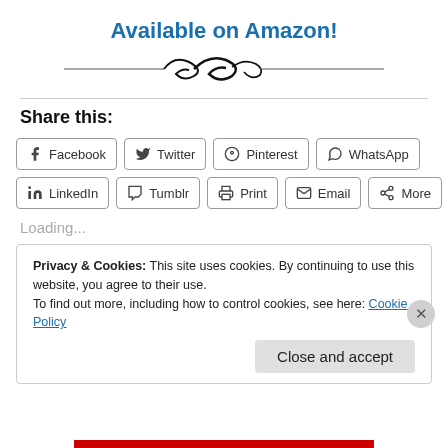Available on Amazon!
[Figure (illustration): Decorative swirl/flourish divider line]
Share this:
Facebook
Twitter
Pinterest
WhatsApp
LinkedIn
Tumblr
Print
Email
More
Loading...
Privacy & Cookies: This site uses cookies. By continuing to use this website, you agree to their use. To find out more, including how to control cookies, see here: Cookie Policy
Close and accept